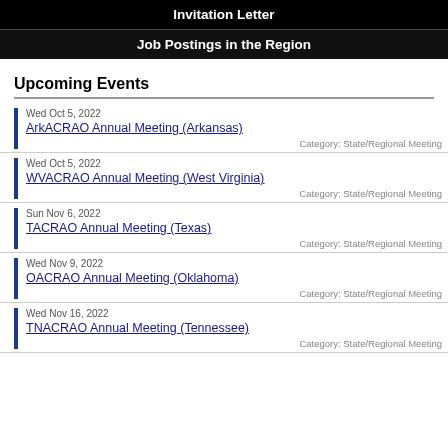Invitation Letter
Job Postings in the Region
Upcoming Events
Wed Oct 5, 2022
ArkACRAO Annual Meeting (Arkansas)
Category: State/Regional Meeting
Wed Oct 5, 2022
WVACRAO Annual Meeting (West Virginia)
Category: State/Regional Meeting
Sun Nov 6, 2022
TACRAO Annual Meeting (Texas)
Category: State/Regional Meeting
Wed Nov 9, 2022
OACRAO Annual Meeting (Oklahoma)
Category: State/Regional Meeting
Wed Nov 16, 2022
TNACRAO Annual Meeting (Tennessee)
Category: State/Regional Meeting